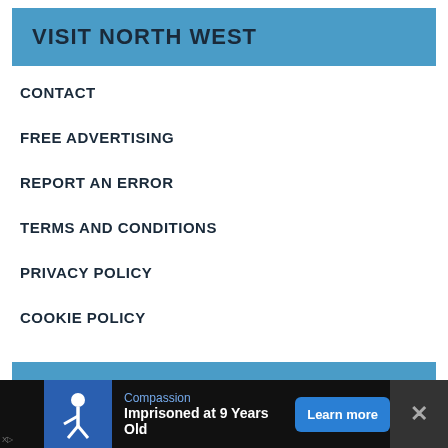VISIT NORTH WEST
CONTACT
FREE ADVERTISING
REPORT AN ERROR
TERMS AND CONDITIONS
PRIVACY POLICY
COOKIE POLICY
SOCIAL NETWORKS
FACEBOOK
[Figure (other): Advertisement banner: Compassion charity ad with text 'Imprisoned at 9 Years Old', Learn more button, and close button]